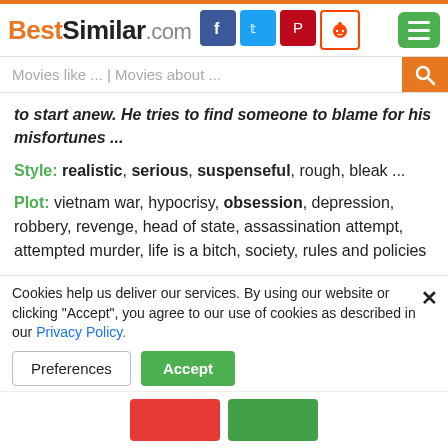BestSimilar.com
Movies like ... | Movies about ...
to start anew. He tries to find someone to blame for his misfortunes ...
Style: realistic, serious, suspenseful, rough, bleak ...
Plot: vietnam war, hypocrisy, obsession, depression, robbery, revenge, head of state, assassination attempt, attempted murder, life is a bitch, society, rules and policies ...
Time: 20th century, 70s
Place: usa, baltimore, vietnam
[Figure (other): Movie button - dark rounded rectangle with play arrow, MOVIE text, and forward arrow]
# similarity #
Cookies help us deliver our services. By using our website or clicking "Accept", you agree to our use of cookies as described in our Privacy Policy.